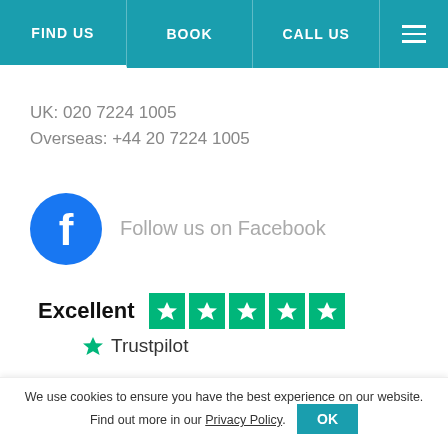FIND US | BOOK | CALL US
UK: 020 7224 1005
Overseas: +44 20 7224 1005
[Figure (logo): Facebook logo circle blue with white F, followed by text 'Follow us on Facebook']
[Figure (infographic): Trustpilot rating: Excellent with 5 green stars and Trustpilot logo]
USEFUL LINKS
Find Us
We use cookies to ensure you have the best experience on our website. Find out more in our Privacy Policy.